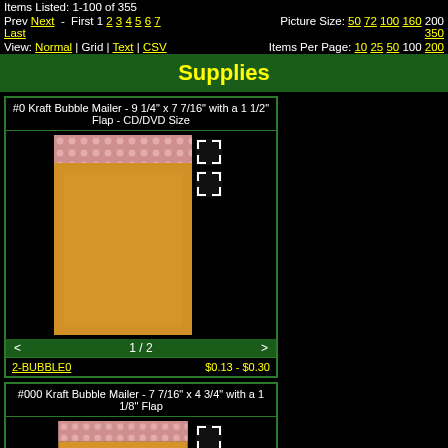Items Listed: 1-100 of 355
Prev Next - First 1 2 3 4 5 6 7 Last  Picture Size: 50 72 100 160 200 350
View: Normal | Grid | Text | CSV  Items Per Page: 10 25 50 100 200
Supplies
#0 Kraft Bubble Mailer - 9 1/4" x 7 7/16" with a 1 1/2" Flap - CD/DVD Size
[Figure (photo): Kraft bubble mailer envelope, golden yellow color with pink bubble wrap strip at top]
1 / 2
2-BUBBLE0   $0.13 - $0.30
#000 Kraft Bubble Mailer - 7 7/16" x 4 3/4" with a 1 1/8" Flap
[Figure (photo): Kraft bubble mailer envelope smaller size, golden yellow color with pink bubble wrap strip at top]